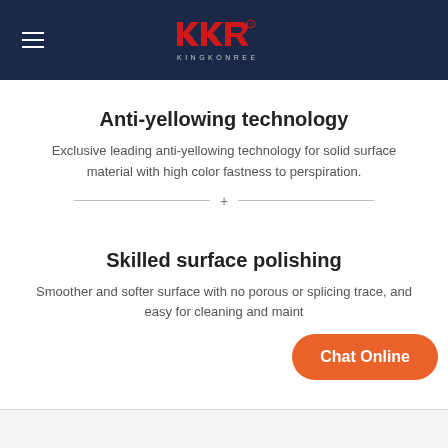KKR KINGKONREE
Anti-yellowing technology
Exclusive leading anti-yellowing technology for solid surface material with high color fastness to perspiration.
Skilled surface polishing
Smoother and softer surface with no porous or splicing trace, and easy for cleaning and maintenance.